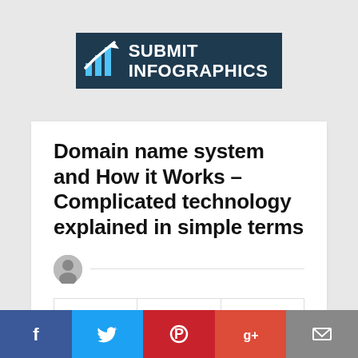SUBMIT INFOGRAPHICS
Domain name system and How it Works – Complicated technology explained in simple terms
1877   ♥ 0   BY MATT   5 YEARS AGO   IN INTERNET
Facebook | Twitter | Pinterest | Google+ | Email